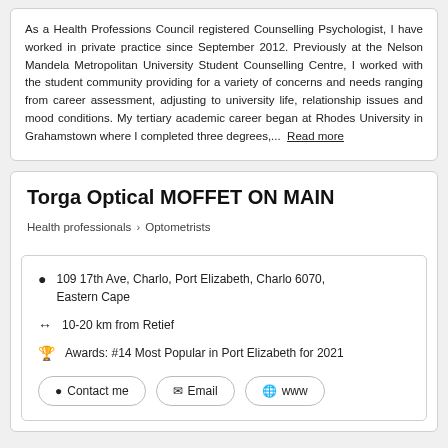As a Health Professions Council registered Counselling Psychologist, I have worked in private practice since September 2012. Previously at the Nelson Mandela Metropolitan University Student Counselling Centre, I worked with the student community providing for a variety of concerns and needs ranging from career assessment, adjusting to university life, relationship issues and mood conditions. My tertiary academic career began at Rhodes University in Grahamstown where I completed three degrees,... Read more
Torga Optical MOFFET ON MAIN
Health professionals > Optometrists
109 17th Ave, Charlo, Port Elizabeth, Charlo 6070, Eastern Cape
10-20 km from Retief
Awards: #14 Most Popular in Port Elizabeth for 2021
Contact me | Email | www